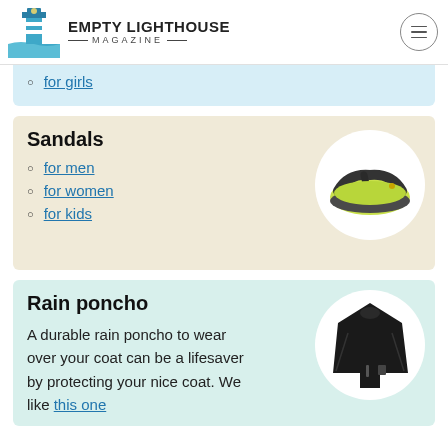EMPTY LIGHTHOUSE MAGAZINE
for girls
Sandals
for men
for women
for kids
[Figure (photo): A black and green flip-flop sandal on a white circular background]
Rain poncho
[Figure (photo): A black rain poncho displayed on a white circular background]
A durable rain poncho to wear over your coat can be a lifesaver by protecting your nice coat. We like this one